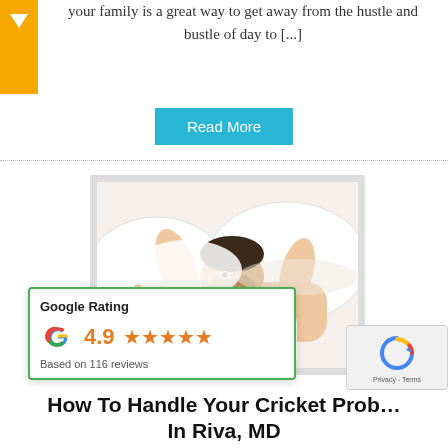your family is a great way to get away from the hustle and bustle of day to [...]
Read More
[Figure (photo): Man lying in bed covering his ears with a pillow]
[Figure (other): Google Rating widget showing 4.9 stars based on 116 reviews]
[Figure (other): reCAPTCHA Privacy - Terms widget]
How To Handle Your Cricket Prob... In Riva, MD